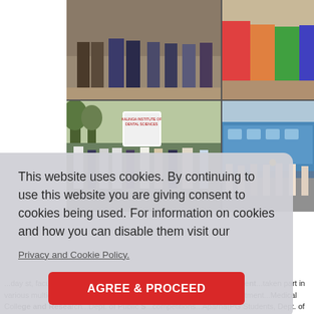[Figure (photo): Collage of four photos: top-left shows people standing indoors (lower bodies/feet visible), top-right shows people in colorful traditional clothing, bottom-left shows a group rally/walk with banners including Kalinga Institute of Dental Sciences sign, bottom-right shows a train platform scene with a group of people.]
This website uses cookies. By continuing to use this website you are giving consent to cookies being used. For information on cookies and how you can disable them visit our
Privacy and Cookie Policy.
AGREE & PROCEED
...day st, faculty and students from Department...Shankara ca...The student...taken part in various multidisciplinary progress programmes held by the...with Department...Medical College and Research...Dept. of Public...competitions...Aparna(PG Students, Dept. of Public Health Dentistry) took part in Rangoli competitions...active tobacco cessation counselling programme was held by the Department...